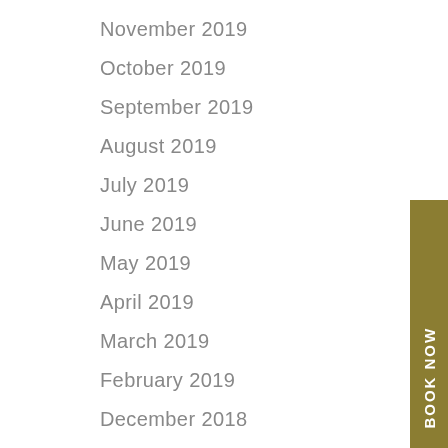November 2019
October 2019
September 2019
August 2019
July 2019
June 2019
May 2019
April 2019
March 2019
February 2019
December 2018
November 2018
October 2018
[Figure (other): Vertical gold tab on the right side reading BOOK NOW in white rotated text]
[Figure (other): Vertical gold tab on the right side reading SPECIAL OFFER in white rotated text]